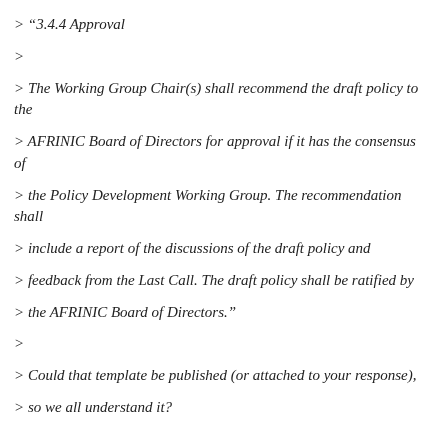> “3.4.4 Approval
>
> The Working Group Chair(s) shall recommend the draft policy to the
> AFRINIC Board of Directors for approval if it has the consensus of
> the Policy Development Working Group. The recommendation shall
> include a report of the discussions of the draft policy and
> feedback from the Last Call. The draft policy shall be ratified by
> the AFRINIC Board of Directors.”
>
> Could that template be published (or attached to your response),
> so we all understand it?